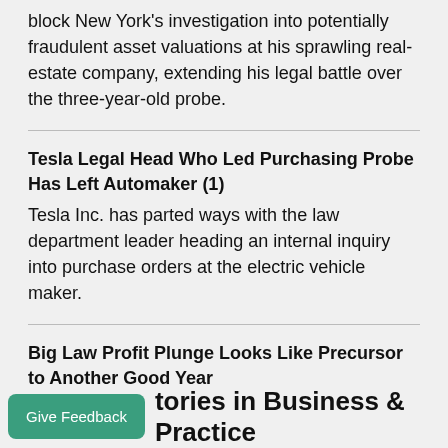block New York's investigation into potentially fraudulent asset valuations at his sprawling real-estate company, extending his legal battle over the three-year-old probe.
Tesla Legal Head Who Led Purchasing Probe Has Left Automaker (1)
Tesla Inc. has parted ways with the law department leader heading an internal inquiry into purchase orders at the electric vehicle maker.
Big Law Profit Plunge Looks Like Precursor to Another Good Year
Big Law profit margins are down, while billing rates are up. Here's what that means law firms for the rest of the year.
tories in Business & Practice